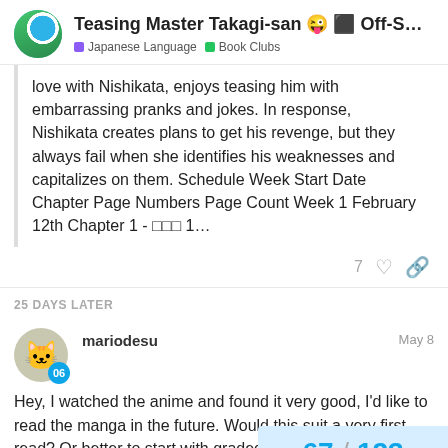Teasing Master Takagi-san 😜 ⬛ Off-Shoot Book ... | Japanese Language | Book Clubs
love with Nishikata, enjoys teasing him with embarrassing pranks and jokes. In response, Nishikata creates plans to get his revenge, but they always fail when she identifies his weaknesses and capitalizes on them. Schedule Week Start Date Chapter Page Numbers Page Count Week 1 February 12th Chapter 1 - ⬛⬛⬛ 1…
7
25 DAYS LATER
mariodesu    May 8
Hey, I watched the anime and found it very good, I'd like to read the manga in the future. Would this suit a very first read? Or better to start with graded reader?
67 / 123